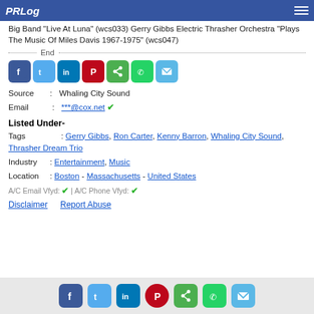PRLog
Big Band "Live At Luna" (wcs033) Gerry Gibbs Electric Thrasher Orchestra "Plays The Music Of Miles Davis 1967-1975" (wcs047)
End
[Figure (other): Row of social media sharing icons: Facebook, Twitter, LinkedIn, Pinterest, Share, WhatsApp, Email]
Source : Whaling City Sound
Email : ***@cox.net ✔
Listed Under-
Tags : Gerry Gibbs, Ron Carter, Kenny Barron, Whaling City Sound, Thrasher Dream Trio
Industry : Entertainment, Music
Location : Boston - Massachusetts - United States
A/C Email Vfyd: ✔ | A/C Phone Vfyd: ✔
Disclaimer   Report Abuse
Social sharing icons footer